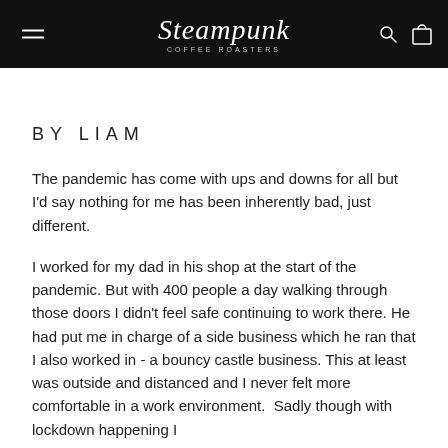Steampunk Coffee Roasters
BY LIAM
The pandemic has come with ups and downs for all but I'd say nothing for me has been inherently bad, just different.
I worked for my dad in his shop at the start of the pandemic. But with 400 people a day walking through those doors I didn't feel safe continuing to work there. He had put me in charge of a side business which he ran that I also worked in - a bouncy castle business. This at least was outside and distanced and I never felt more comfortable in a work environment.  Sadly though with lockdown happening I